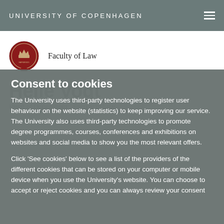UNIVERSITY OF COPENHAGEN
Faculty of Law
Consent to cookies
The University uses third-party technologies to register user behaviour on the website (statistics) to keep improving our service. The University also uses third-party technologies to promote degree programmes, courses, conferences and exhibitions on websites and social media to show you the most relevant offers.
Click 'See cookies' below to see a list of the providers of the different cookies that can be stored on your computer or mobile device when you use the University's website. You can choose to accept or reject cookies and you can always review your consent